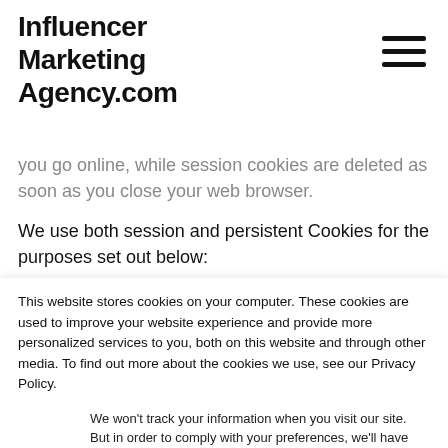Influencer Marketing Agency.com
you go online, while session cookies are deleted as soon as you close your web browser.
We use both session and persistent Cookies for the purposes set out below:
Necessary / Essential Cookies
Type: Session Cookies
This website stores cookies on your computer. These cookies are used to improve your website experience and provide more personalized services to you, both on this website and through other media. To find out more about the cookies we use, see our Privacy Policy.
We won't track your information when you visit our site. But in order to comply with your preferences, we'll have to use just one tiny cookie so that you're not asked to make this choice again.
Accept
Decline